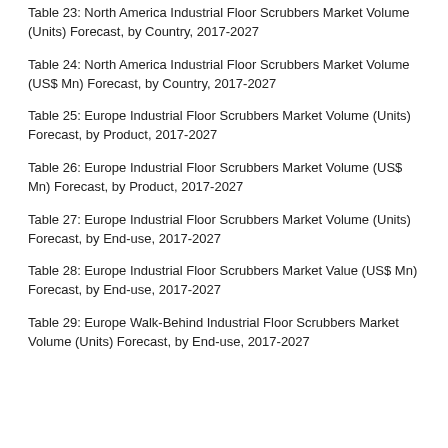Table 23: North America Industrial Floor Scrubbers Market Volume (Units) Forecast, by Country, 2017-2027
Table 24: North America Industrial Floor Scrubbers Market Volume (US$ Mn) Forecast, by Country, 2017-2027
Table 25: Europe Industrial Floor Scrubbers Market Volume (Units) Forecast, by Product, 2017-2027
Table 26: Europe Industrial Floor Scrubbers Market Volume (US$ Mn) Forecast, by Product, 2017-2027
Table 27: Europe Industrial Floor Scrubbers Market Volume (Units) Forecast, by End-use, 2017-2027
Table 28: Europe Industrial Floor Scrubbers Market Value (US$ Mn) Forecast, by End-use, 2017-2027
Table 29: Europe Walk-Behind Industrial Floor Scrubbers Market Volume (Units) Forecast, by End-use, 2017-2027